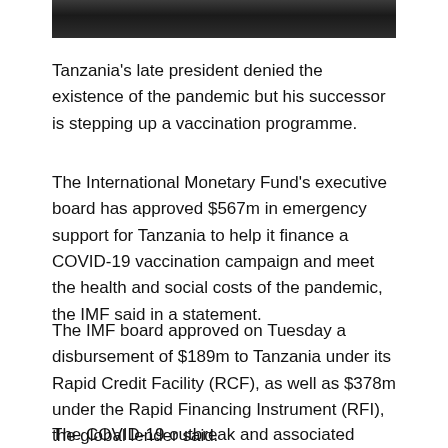[Figure (photo): Partial view of a photo showing people, cropped at top of page]
Tanzania's late president denied the existence of the pandemic but his successor is stepping up a vaccination programme.
The International Monetary Fund's executive board has approved $567m in emergency support for Tanzania to help it finance a COVID-19 vaccination campaign and meet the health and social costs of the pandemic, the IMF said in a statement.
The IMF board approved on Tuesday a disbursement of $189m to Tanzania under its Rapid Credit Facility (RCF), as well as $378m under the Rapid Financing Instrument (RFI), the global lender said.
The COVID-19 outbreak and associated travel restrictions